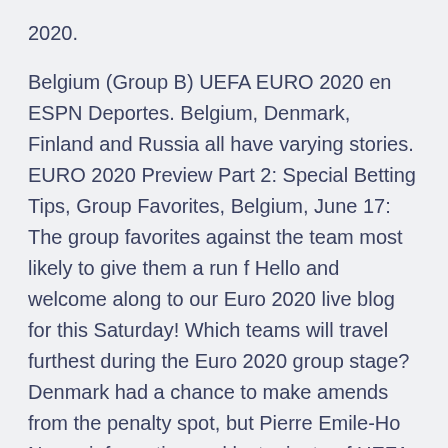2020.
Belgium (Group B) UEFA EURO 2020 en ESPN Deportes. Belgium, Denmark, Finland and Russia all have varying stories. EURO 2020 Preview Part 2: Special Betting Tips, Group Favorites, Belgium, June 17: The group favorites against the team most likely to give them a run f Hello and welcome along to our Euro 2020 live blog for this Saturday! Which teams will travel furthest during the Euro 2020 group stage? Denmark had a chance to make amends from the penalty spot, but Pierre Emile-Ho News, information and last minute of UEFA Euro 2020 that takes place from June 11 to July 11, in Marca English.
Ticket information. The rescheduled UEFA EURO 2020 finals will take place between 11 June and 11 July 2021.